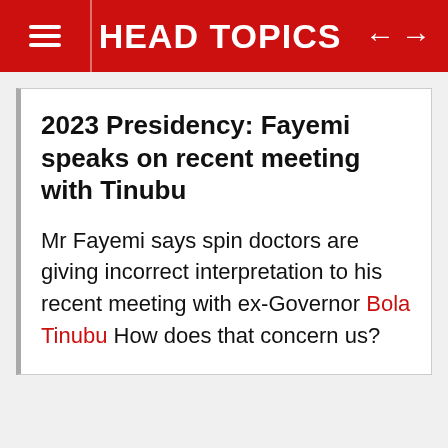HEAD TOPICS
2023 Presidency: Fayemi speaks on recent meeting with Tinubu
Mr Fayemi says spin doctors are giving incorrect interpretation to his recent meeting with ex-Governor Bola Tinubu How does that concern us?